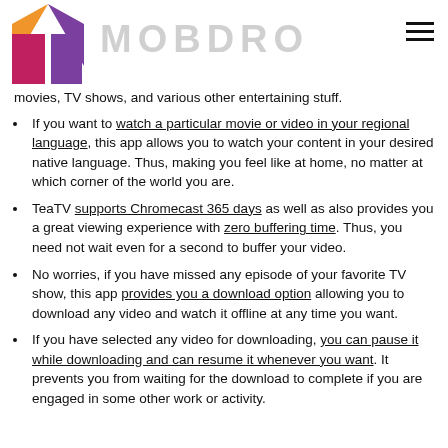[Figure (logo): Mobdro app logo: a house shape with orange roof triangle and purple/magenta square body, plus the text MOBDRO in large gray letters and a hamburger menu icon]
movies, TV shows, and various other entertaining stuff.
If you want to watch a particular movie or video in your regional language, this app allows you to watch your content in your desired native language. Thus, making you feel like at home, no matter at which corner of the world you are.
TeaTV supports Chromecast 365 days as well as also provides you a great viewing experience with zero buffering time. Thus, you need not wait even for a second to buffer your video.
No worries, if you have missed any episode of your favorite TV show, this app provides you a download option allowing you to download any video and watch it offline at any time you want.
If you have selected any video for downloading, you can pause it while downloading and can resume it whenever you want. It prevents you from waiting for the download to complete if you are engaged in some other work or activity.
(partial text cut off at bottom)